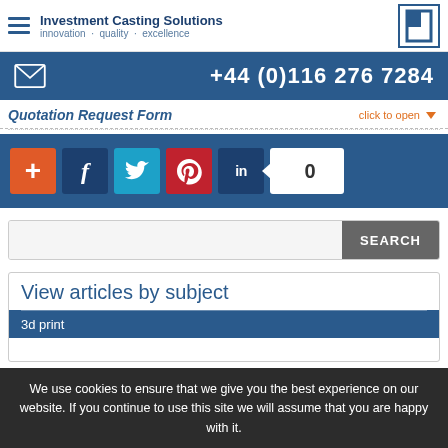Investment Casting Solutions · innovation · quality · excellence
+44 (0)116 276 7284
Quotation Request Form
click to open
[Figure (infographic): Social media share buttons: +, Facebook, Twitter, Pinterest, LinkedIn, count badge showing 0]
SEARCH
View articles by subject
3d print
We use cookies to ensure that we give you the best experience on our website. If you continue to use this site we will assume that you are happy with it.